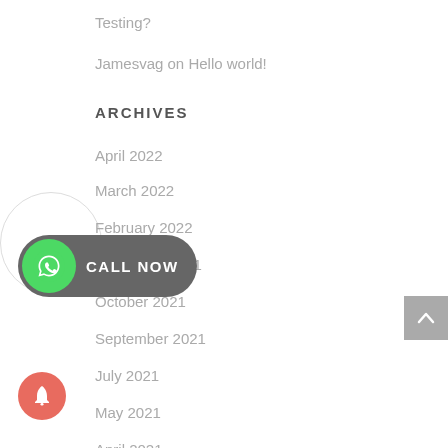Testing?
Jamesvag on Hello world!
ARCHIVES
April 2022
March 2022
February 2022
November 2021
October 2021
September 2021
July 2021
May 2021
April 2021